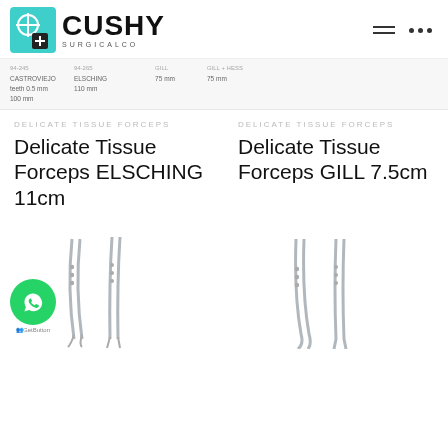[Figure (logo): Cushy Surgical Co logo with teal medical cross icon and bold CUSHY text]
[Figure (screenshot): Partial catalog strip showing product codes and names: CASTROVIEJO teeth 0.5mm 100mm, ELSCHING 110mm, GILL 75mm, GILL+HESS 75mm]
DELICATE TISSUE FORCEPS
Delicate Tissue Forceps ELSCHING 11cm
DELICATE TISSUE FORCEPS
Delicate Tissue Forceps GILL 7.5cm
[Figure (photo): Surgical forceps instruments shown from below, left column, ELSCHING type]
[Figure (photo): Surgical forceps instruments shown from below, right column, GILL type]
[Figure (logo): WhatsApp chat button (green circle with phone/chat icon) and GetButton label]